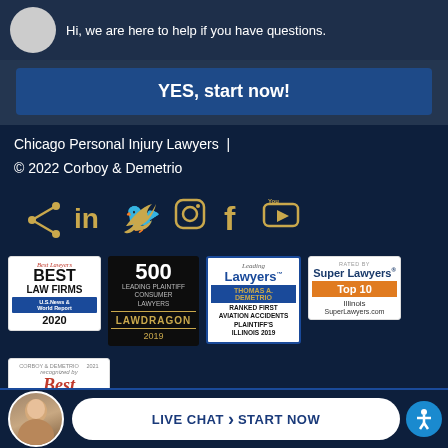Hi, we are here to help if you have questions.
YES, start now!
Chicago Personal Injury Lawyers  |
© 2022 Corboy & Demetrio
[Figure (illustration): Social media icons: share, LinkedIn, Twitter, Instagram, Facebook, YouTube — all in gold/tan color on dark navy background]
[Figure (illustration): Award badges: Best Lawyers Best Law Firms US News 2020; Lawdragon 500 Leading Plaintiff Consumer Lawyers 2019; Leading Lawyers Thomas A. Demetrio Ranked First Aviation Accidents Plaintiff's Illinois 2019; Super Lawyers Top 10 Illinois SuperLawyers.com; Best Lawyers recognized badge]
LIVE CHAT  START NOW